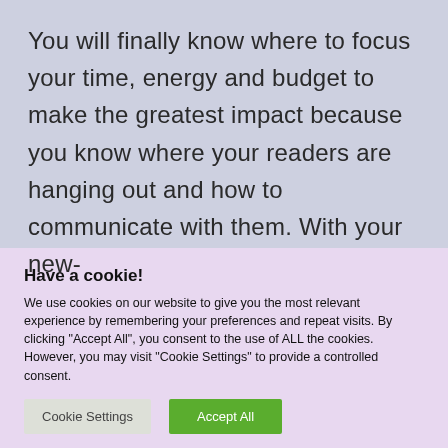You will finally know where to focus your time, energy and budget to make the greatest impact because you know where your readers are hanging out and how to communicate with them. With your new-
Have a cookie!
We use cookies on our website to give you the most relevant experience by remembering your preferences and repeat visits. By clicking "Accept All", you consent to the use of ALL the cookies. However, you may visit "Cookie Settings" to provide a controlled consent.
Cookie Settings | Accept All